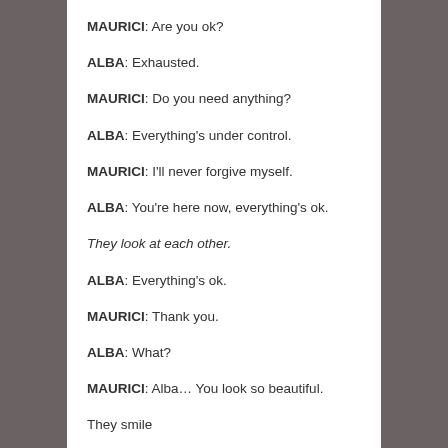MAURICI: Are you ok?
ALBA: Exhausted.
MAURICI: Do you need anything?
ALBA: Everything's under control.
MAURICI: I'll never forgive myself.
ALBA: You're here now, everything's ok.
They look at each other.
ALBA: Everything's ok.
MAURICI: Thank you.
ALBA: What?
MAURICI: Alba… You look so beautiful.
They smile